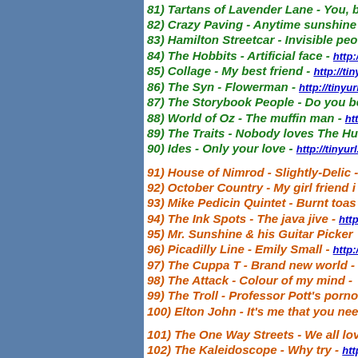81) Tartans of Lavender Lane - You, b...
82) Crazy Paving - Anytime sunshine
83) Hamilton Streetcar - Invisible peo...
84) The Hobbits - Artificial face - http://...
85) Collage - My best friend - http://tinyurl...
86) The Syn - Flowerman - http://tinyurl.c...
87) The Storybook People - Do you be...
88) World of Oz - The muffin man - htt...
89) The Traits - Nobody loves The Hu...
90) Ides - Only your love - http://tinyurl.co...
91) House of Nimrod - Slightly-Delic -...
92) October Country - My girl friend i...
93) Mike Pedicin Quintet - Burnt toas...
94) The Ink Spots - The java jive - http://...
95) Mr. Sunshine & his Guitar Picker...
96) Picadilly Line - Emily Small - http:/...
97) The Cuppa T - Brand new world -...
98) The Attack - Colour of my mind -...
99) The Troll - Professor Pott's porno...
100) Elton John - It's me that you nee...
101) The One Way Streets - We all lov...
102) The Kaleidoscope - Why try - http://...
103) The Choir - It's cold outside - http...
104) The Aquarian Age - 10,000 word...